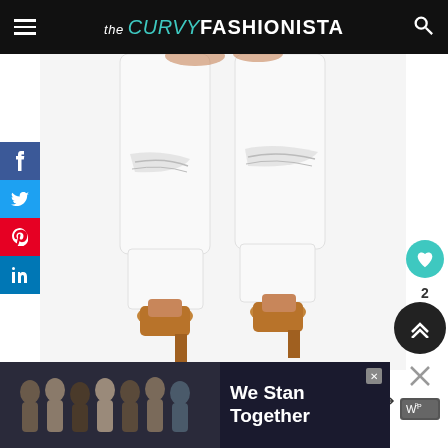the CURVY FASHIONISTA
[Figure (photo): Lower body shot of a person wearing white ripped skinny jeans and tan/camel block heel pumps, on a white background]
[Figure (infographic): What's Next panel showing thumbnail of fashion image with text: Whoa Baby! Did You Kno...]
[Figure (photo): Advertisement banner with group of people standing together with text 'We Stand Together']